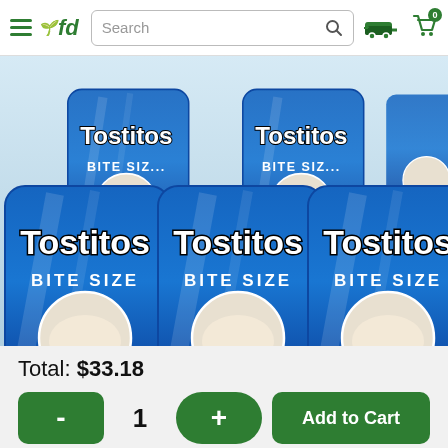fd (food delivery app) — Search bar, truck icon, cart icon (0)
[Figure (photo): Five Tostitos Bite Size tortilla chip bags arranged in a 2+3 grid on a blue/grey background]
Total: $33.18
- 1 + Add to Cart